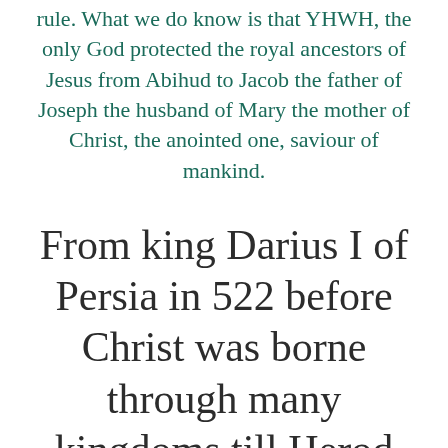rule. What we do know is that YHWH, the only God protected the royal ancestors of Jesus from Abihud to Jacob the father of Joseph the husband of Mary the mother of Christ, the anointed one, saviour of mankind.
From king Darius I of Persia in 522 before Christ was borne through many kingdoms till Herod became king of the Jews in 40 BC.